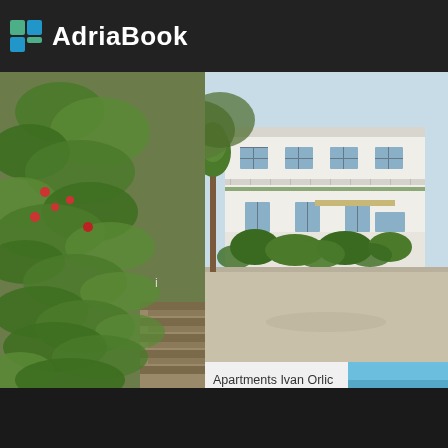AdriaBook
[Figure (photo): Exterior photo of Apartments Ivan Orlic, a white two-story building with green vegetation and a driveway]
[Figure (photo): Green leafy plant/tree on the left side panel]
[Figure (photo): Blue sea/ocean view on the right side panel]
Apartments Ivan Orlic is centrally located in Vinišće facilities. Several sandy, pebbly and rocky beaches provided. The apartments comes with air conditioner kettle and a stove are also featured. Grocery store UNESCO-protected town of Trogir is 16 km from km away, while Split Ferry Port can be reached...
Garden
Barbecue
Parking
Air conditioner
Vinisce, Croatia